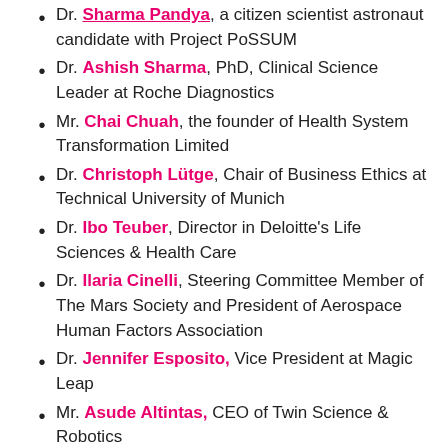Dr. Sharma Pandya, a citizen scientist astronaut candidate with Project PoSSUM
Dr. Ashish Sharma, PhD, Clinical Science Leader at Roche Diagnostics
Mr. Chai Chuah, the founder of Health System Transformation Limited
Dr. Christoph Lütge, Chair of Business Ethics at Technical University of Munich
Dr. Ibo Teuber, Director in Deloitte's Life Sciences & Health Care
Dr. Ilaria Cinelli, Steering Committee Member of The Mars Society and President of Aerospace Human Factors Association
Dr. Jennifer Esposito, Vice President at Magic Leap
Mr. Asude Altintas, CEO of Twin Science & Robotics
Dr. Malvika Iyer, Disability Rights Activists